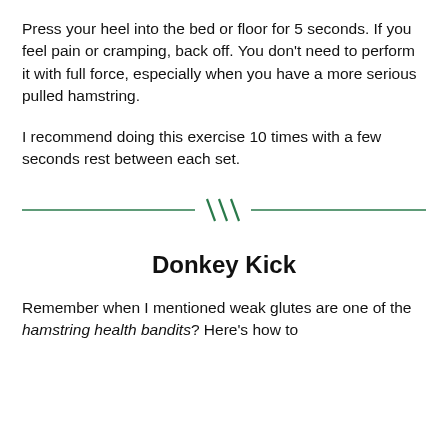Press your heel into the bed or floor for 5 seconds. If you feel pain or cramping, back off. You don't need to perform it with full force, especially when you have a more serious pulled hamstring.
I recommend doing this exercise 10 times with a few seconds rest between each set.
[Figure (illustration): A decorative horizontal divider line with three diagonal hash marks in the center, rendered in dark green.]
Donkey Kick
Remember when I mentioned weak glutes are one of the hamstring health bandits? Here's how to